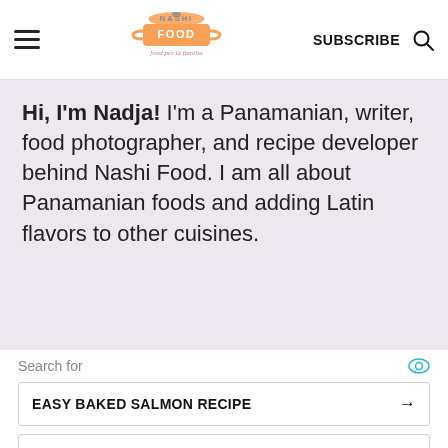Nashi Food - SUBSCRIBE
Hi, I'm Nadja! I'm a Panamanian, writer, food photographer, and recipe developer behind Nashi Food. I am all about Panamanian foods and adding Latin flavors to other cuisines.
Search for
EASY BAKED SALMON RECIPE →
QUICK BAKED SALMON RECIPES →